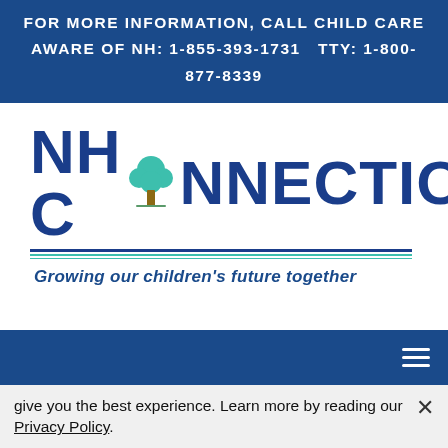FOR MORE INFORMATION, CALL CHILD CARE AWARE OF NH: 1-855-393-1731   TTY: 1-800-877-8339
[Figure (logo): NH Connections logo with a tree icon replacing the letter O in CONNECTIONS, accompanied by decorative horizontal lines and the tagline 'Growing our children's future together']
give you the best experience. Learn more by reading our Privacy Policy.